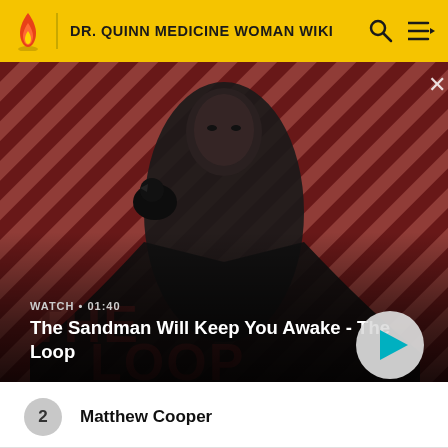DR. QUINN MEDICINE WOMAN WIKI
[Figure (screenshot): Hero image showing a dark-clad figure with a raven on shoulder against a red diagonal striped background. Text overlay: WATCH • 01:40, The Sandman Will Keep You Awake - The Loop. Play button on right.]
2  Matthew Cooper
3  Dr. Colleen Cooper-Cook